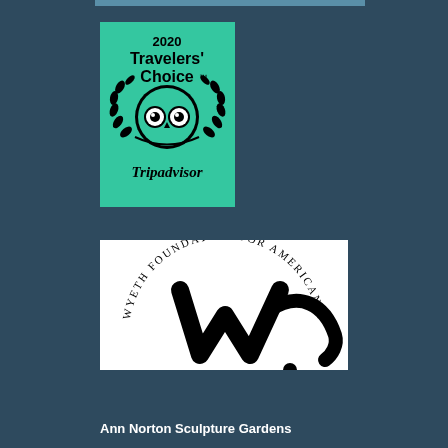[Figure (logo): TripAdvisor 2020 Travelers' Choice award badge on green background with owl logo and laurel wreath]
[Figure (logo): Wyeth Foundation for American Art logo — circular text with stylized W brushstroke mark on white background]
Ann Norton Sculpture Gardens